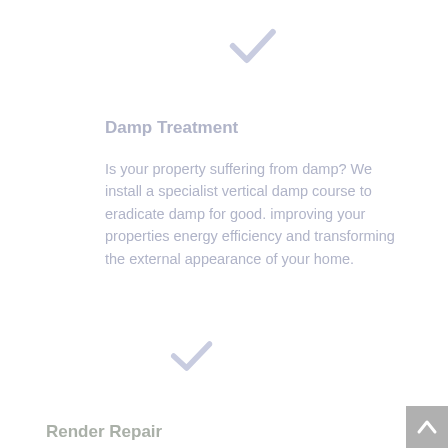[Figure (illustration): A light blue/lavender checkmark icon near the top center of the page]
Damp Treatment
Is your property suffering from damp? We install a specialist vertical damp course to eradicate damp for good. improving your properties energy efficiency and transforming the external appearance of your home.
[Figure (illustration): A light blue/lavender checkmark icon near the middle of the page]
Render Repair
[Figure (illustration): A gray back-to-top arrow button in the bottom right corner]